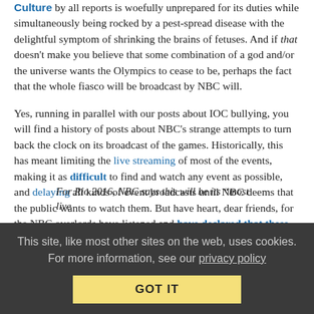Culture by all reports is woefully unprepared for its duties while simultaneously being rocked by a pest-spread disease with the delightful symptom of shrinking the brains of fetuses. And if that doesn't make you believe that some combination of a god and/or the universe wants the Olympics to cease to be, perhaps the fact that the whole fiasco will be broadcast by NBC will.
Yes, running in parallel with our posts about IOC bullying, you will find a history of posts about NBC's strange attempts to turn back the clock on its broadcast of the games. Historically, this has meant limiting the live streaming of most of the events, making it as difficult to find and watch any event as possible, and delaying all kinds of event broadcasts until NBC deems that the public wants to watch them. But have heart, dear friends, for the NBC overlords have listened and have declared that these Rio Olympics will be the "most live Olympics ever."
For Rio 2016, NBC says this will be its "most live
This site, like most other sites on the web, uses cookies. For more information, see our privacy policy
GOT IT